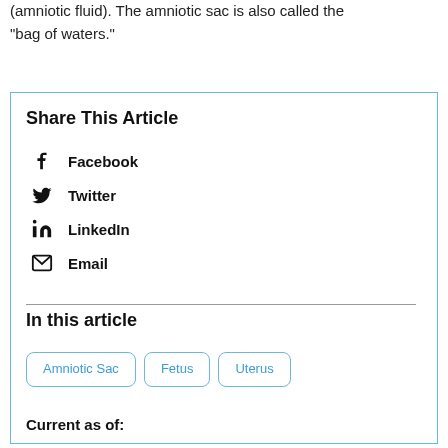(amniotic fluid). The amniotic sac is also called the “bag of waters.”
Share This Article
Facebook
Twitter
LinkedIn
Email
In this article
Amniotic Sac
Fetus
Uterus
Current as of: